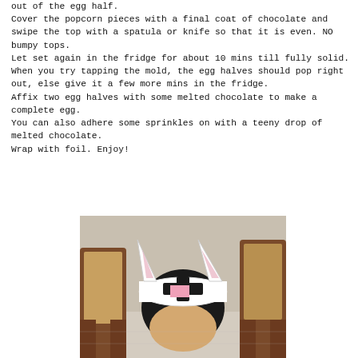out of the egg half.
Cover the popcorn pieces with a final coat of chocolate and swipe the top with a spatula or knife so that it is even. NO bumpy tops.
Let set again in the fridge for about 10 mins till fully solid.
When you try tapping the mold, the egg halves should pop right out, else give it a few more mins in the fridge.
Affix two egg halves with some melted chocolate to make a complete egg.
You can also adhere some sprinkles on with a teeny drop of melted chocolate.
Wrap with foil. Enjoy!
[Figure (photo): A child wearing a paper Easter bunny headband/hat with black and pink decorations, sitting between two wooden chairs.]